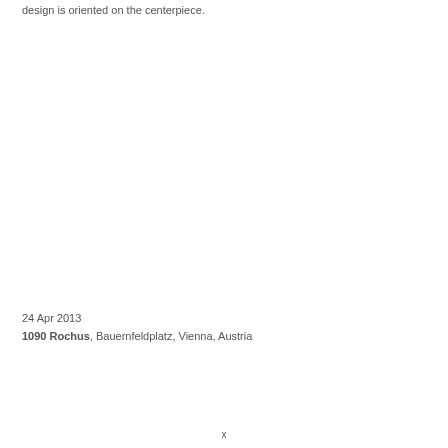design is oriented on the centerpiece.
24 Apr 2013
1090 Rochus, Bauernfeldplatz, Vienna, Austria
x